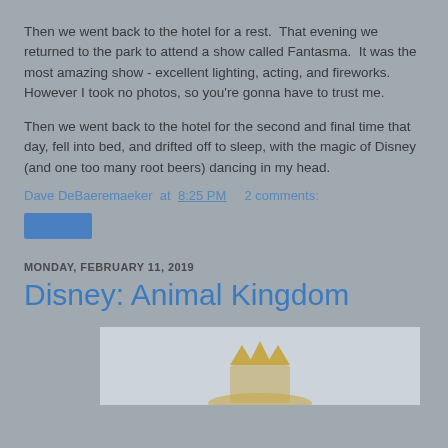Then we went back to the hotel for a rest.  That evening we returned to the park to attend a show called Fantasma.  It was the most amazing show - excellent lighting, acting, and fireworks.  However I took no photos, so you're gonna have to trust me.
Then we went back to the hotel for the second and final time that day, fell into bed, and drifted off to sleep, with the magic of Disney (and one too many root beers) dancing in my head.
Dave DeBaeremaeker at 8:25 PM    2 comments:
[Figure (other): Share button (blue rectangle)]
MONDAY, FEBRUARY 11, 2019
Disney: Animal Kingdom
[Figure (photo): Partial image of Disney Animal Kingdom logo with crown visible at bottom of page]